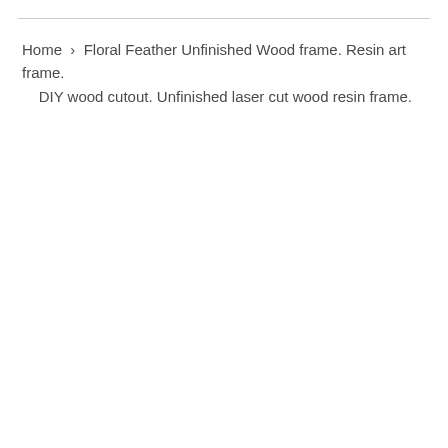Home › Floral Feather Unfinished Wood frame. Resin art frame. DIY wood cutout. Unfinished laser cut wood resin frame.